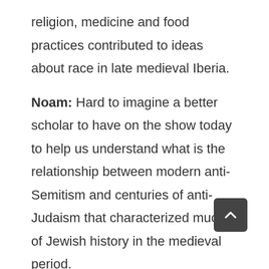religion, medicine and food practices contributed to ideas about race in late medieval Iberia.
Noam: Hard to imagine a better scholar to have on the show today to help us understand what is the relationship between modern anti-Semitism and centuries of anti-Judaism that characterized much of Jewish history in the medieval period.
Laurie: So, Ana, when we were talking before, you mentioned something interesting that